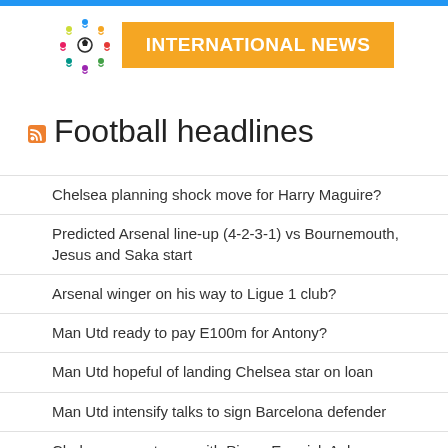INTERNATIONAL NEWS
Football headlines
Chelsea planning shock move for Harry Maguire?
Predicted Arsenal line-up (4-2-3-1) vs Bournemouth, Jesus and Saka start
Arsenal winger on his way to Ligue 1 club?
Man Utd ready to pay E100m for Antony?
Man Utd hopeful of landing Chelsea star on loan
Man Utd intensify talks to sign Barcelona defender
Chelsea agree terms with Pierre-Emerick Aubameyang
Man Utd handed big injury boost ahead of Liverpool clash